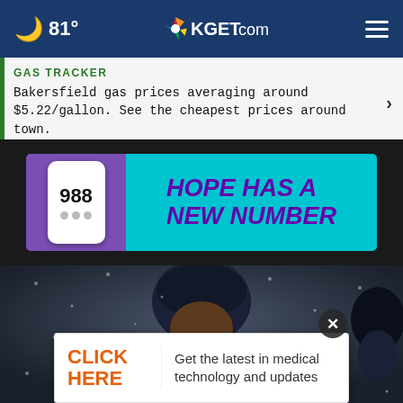🌙 81° | KGET.com
GAS TRACKER
Bakersfield gas prices averaging around $5.22/gallon. See the cheapest prices around town.
[Figure (infographic): 988 Hope Has A New Number advertisement banner with phone graphic on purple background and teal right panel]
[Figure (photo): Baseball player in dark uniform and helmet, photo taken in rainy or snowy conditions]
[Figure (infographic): Advertisement: CLICK HERE - Get the latest in medical technology and updates]